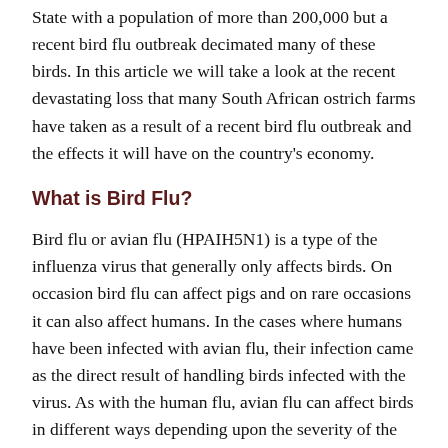State with a population of more than 200,000 but a recent bird flu outbreak decimated many of these birds. In this article we will take a look at the recent devastating loss that many South African ostrich farms have taken as a result of a recent bird flu outbreak and the effects it will have on the country's economy.
What is Bird Flu?
Bird flu or avian flu (HPAIH5N1) is a type of the influenza virus that generally only affects birds. On occasion bird flu can affect pigs and on rare occasions it can also affect humans. In the cases where humans have been infected with avian flu, their infection came as the direct result of handling birds infected with the virus. As with the human flu, avian flu can affect birds in different ways depending upon the severity of the strain that they are infected with. In some cases of bird flu, birds experience mild symptoms such as a reduction in egg production. In other more severe cases of the bird flu